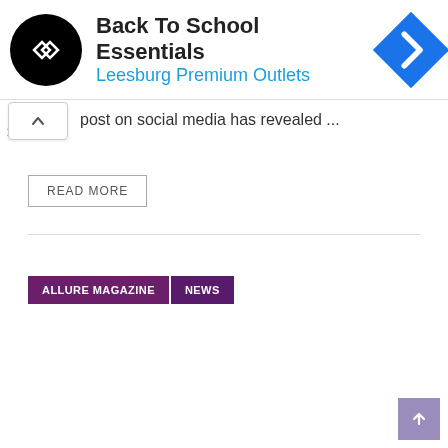[Figure (screenshot): Ad banner for Back To School Essentials at Leesburg Premium Outlets, showing a black circular logo with arrow symbols, bold title text, blue subtitle, and a blue diamond navigation icon on the right.]
post on social media has revealed ...
READ MORE
ALLURE MAGAZINE
NEWS